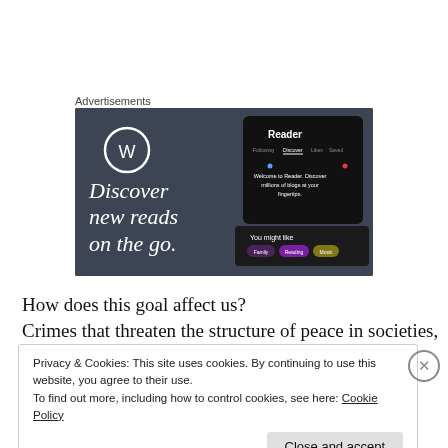Advertisements
[Figure (screenshot): WordPress advertisement banner showing 'Discover new reads on the go.' with a Reader app interface on the right side]
How does this goal affect us?
Crimes that threaten the structure of peace in societies,
Privacy & Cookies: This site uses cookies. By continuing to use this website, you agree to their use.
To find out more, including how to control cookies, see here: Cookie Policy
Close and accept